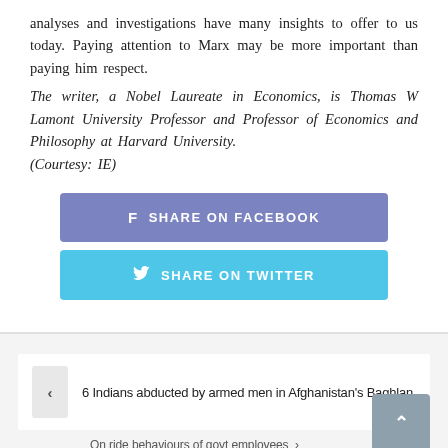analyses and investigations have many insights to offer to us today. Paying attention to Marx may be more important than paying him respect.
The writer, a Nobel Laureate in Economics, is Thomas W Lamont University Professor and Professor of Economics and Philosophy at Harvard University. (Courtesy: IE)
[Figure (other): Share on Facebook button (blue-purple rounded rectangle with Facebook icon and text SHARE ON FACEBOOK)]
[Figure (other): Share on Twitter button (light blue rounded rectangle with Twitter bird icon and text SHARE ON TWITTER)]
6 Indians abducted by armed men in Afghanistan's Baghlan
On ride behaviours of govt employees...